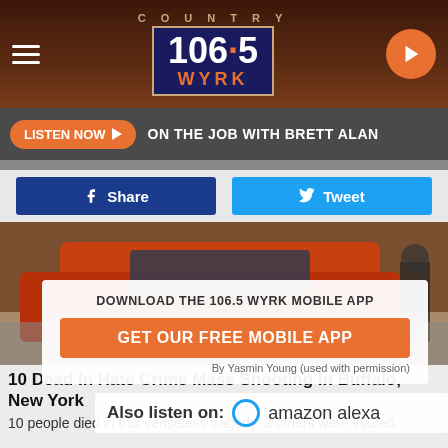COUNTRY 106.5 WYRK
LISTEN NOW ▶  ON THE JOB WITH BRETT ALAN
Share   Tweet
[Figure (photo): A vehicle in an indoor space with a person in the background, partially obscured by an app download overlay]
DOWNLOAD THE 106.5 WYRK MOBILE APP
GET OUR FREE MOBILE APP
By Yasmin Young (used with permission)
10 Dead In Hate Crime Mass Shooting In Buffalo, New York
Also listen on:  amazon alexa
10 people died in this senseless tragedy. 3 others were injured.